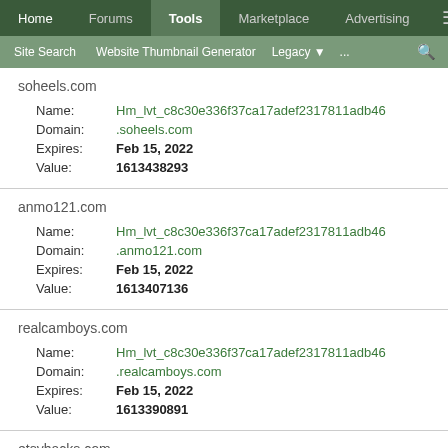Home | Forums | Tools | Marketplace | Advertising
Site Search | Website Thumbnail Generator | Legacy | ... | search
soheels.com
Name: Hm_lvt_c8c30e336f37ca17adef2317811adb46
Domain: .soheels.com
Expires: Feb 15, 2022
Value: 1613438293
anmo121.com
Name: Hm_lvt_c8c30e336f37ca17adef2317811adb46
Domain: .anmo121.com
Expires: Feb 15, 2022
Value: 1613407136
realcamboys.com
Name: Hm_lvt_c8c30e336f37ca17adef2317811adb46
Domain: .realcamboys.com
Expires: Feb 15, 2022
Value: 1613390891
etsyhacks.com
Name: Hm_lvt_c8c30e336f37ca17adef2317811adb46
Domain: .etsyhacks.com
Expires: Feb 14, 2022